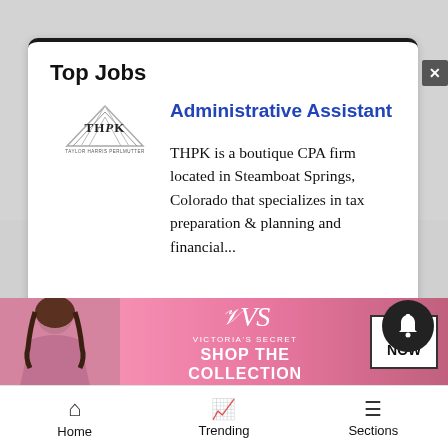Top Jobs
[Figure (logo): THPK company logo - triangular mountain shape with stylized text]
Administrative Assistant
THPK is a boutique CPA firm located in Steamboat Springs, Colorado that specializes in tax preparation & planning and financial...
[Figure (photo): Victoria's Secret advertisement banner showing a model and 'Shop the Collection' text with Shop Now button]
Home    Trending    Sections